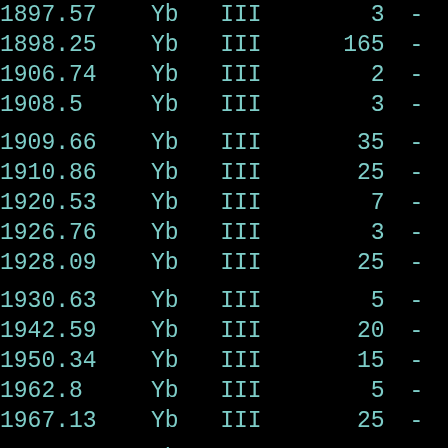| wavelength | element | ion | value | flag |
| --- | --- | --- | --- | --- |
| 1897.57 | Yb | III | 3 | - |
| 1898.25 | Yb | III | 165 | - |
| 1906.74 | Yb | III | 2 | - |
| 1908.5 | Yb | III | 3 | - |
| 1909.66 | Yb | III | 35 | - |
| 1910.86 | Yb | III | 25 | - |
| 1920.53 | Yb | III | 7 | - |
| 1926.76 | Yb | III | 3 | - |
| 1928.09 | Yb | III | 25 | - |
| 1930.63 | Yb | III | 5 | - |
| 1942.59 | Yb | III | 20 | - |
| 1950.34 | Yb | III | 15 | - |
| 1962.8 | Yb | III | 5 | - |
| 1967.13 | Yb | III | 25 | - |
| 1969.47 | Yb | III | 6 | - |
| 1969.73 | Yb | III | 9 | - |
| 1973.96 | Yb | III | 3 | - |